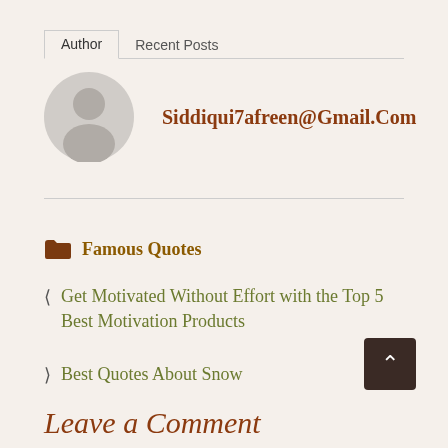Author | Recent Posts
Siddiqui7afreen@Gmail.Com
[Figure (illustration): Generic user avatar: gray circle with silhouette of a person (head and shoulders), no photo]
Famous Quotes
Get Motivated Without Effort with the Top 5 Best Motivation Products
Best Quotes About Snow
Leave a Comment